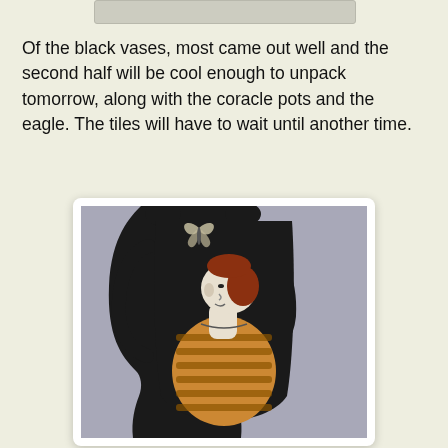[Figure (photo): Partial view of a decorative ceramic or pottery piece at the very top of the page, partially cropped.]
Of the black vases, most came out well and the second half will be cool enough to unpack tomorrow, along with the coracle pots and the eagle. The tiles will have to wait until another time.
[Figure (photo): A black ceramic vase or pottery piece featuring a sculptural figure of a person in profile wearing a striped orange and brown garment, with dark black surround and a bird/butterfly motif at the top.]